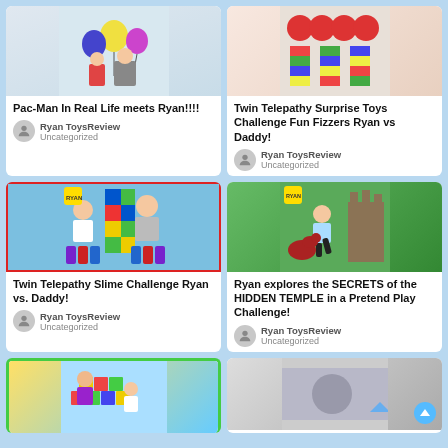[Figure (photo): Pac-Man In Real Life meets Ryan thumbnail - kids with colorful balloons]
Pac-Man In Real Life meets Ryan!!!!
Ryan ToysReview
Uncategorized
[Figure (photo): Twin Telepathy Surprise Toys Challenge Fun Fizzers Ryan vs Daddy thumbnail]
Twin Telepathy Surprise Toys Challenge Fun Fizzers Ryan vs Daddy!
Ryan ToysReview
Uncategorized
[Figure (photo): Twin Telepathy Slime Challenge Ryan vs. Daddy thumbnail with red border]
Twin Telepathy Slime Challenge Ryan vs. Daddy!
Ryan ToysReview
Uncategorized
[Figure (photo): Ryan explores the SECRETS of the HIDDEN TEMPLE in a Pretend Play Challenge thumbnail]
Ryan explores the SECRETS of the HIDDEN TEMPLE in a Pretend Play Challenge!
Ryan ToysReview
Uncategorized
[Figure (photo): Bottom left thumbnail - woman and boy with colorful blocks]
[Figure (photo): Bottom right thumbnail - partial visible]